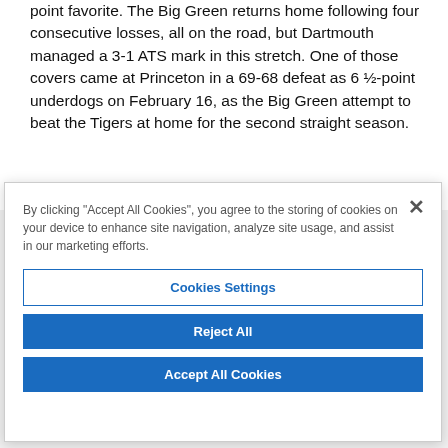point favorite. The Big Green returns home following four consecutive losses, all on the road, but Dartmouth managed a 3-1 ATS mark in this stretch. One of those covers came at Princeton in a 69-68 defeat as 6 ½-point underdogs on February 16, as the Big Green attempt to beat the Tigers at home for the second straight season.
By clicking "Accept All Cookies", you agree to the storing of cookies on your device to enhance site navigation, analyze site usage, and assist in our marketing efforts.
Cookies Settings
Reject All
Accept All Cookies